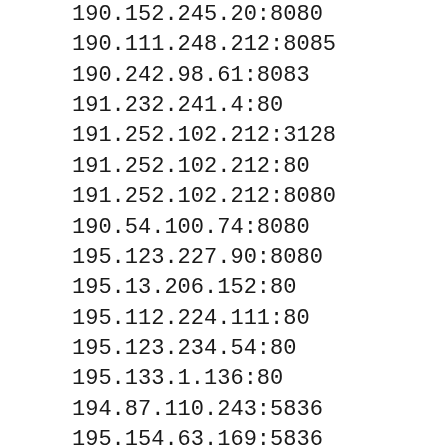190.152.245.20:8080
190.111.248.212:8085
190.242.98.61:8083
191.232.241.4:80
191.252.102.212:3128
191.252.102.212:80
191.252.102.212:8080
190.54.100.74:8080
195.123.227.90:8080
195.13.206.152:80
195.112.224.111:80
195.123.234.54:80
195.133.1.136:80
194.87.110.243:5836
195.154.63.169:5836
195.30.107.52:80
195.49.168.5:80
195.66.136.20:80